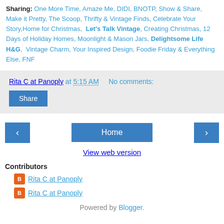Sharing: One More Time, Amaze Me, DIDI, BNOTP, Show & Share, Make it Pretty, The Scoop, Thrifty & Vintage Finds, Celebrate Your Story, Home for Christmas,  Let's Talk Vintage, Creating Christmas, 12 Days of Holiday Homes, Moonlight & Mason Jars, Delightsome Life H&G,  Vintage Charm, Your Inspired Design, Foodie Friday & Everything Else, FNF
Rita C at Panoply at 5:15 AM    No comments:
Share
[Figure (other): Navigation row with left arrow button, Home button, and right arrow button]
View web version
Contributors
Rita C at Panoply
Rita C at Panoply
Powered by Blogger.